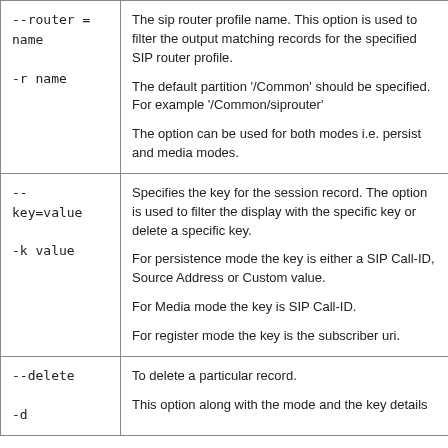| Option | Description |
| --- | --- |
| --router = name

-r name | The sip router profile name. This option is used to filter the output matching records for the specified SIP router profile.

The default partition '/Common' should be specified. For example '/Common/siprouter'

The option can be used for both modes i.e. persist and media modes. |
| --
key=value

-k value | Specifies the key for the session record. The option is used to filter the display with the specific key or delete a specific key.

For persistence mode the key is either a SIP Call-ID, Source Address or Custom value.

For Media mode the key is SIP Call-ID.

For register mode the key is the subscriber uri. |
| --delete

-d | To delete a particular record.

This option along with the mode and the key details [partial, cut off] |